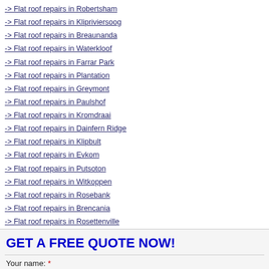-> Flat roof repairs in Robertsham
-> Flat roof repairs in Klipriviersoog
-> Flat roof repairs in Breaunanda
-> Flat roof repairs in Waterkloof
-> Flat roof repairs in Farrar Park
-> Flat roof repairs in Plantation
-> Flat roof repairs in Greymont
-> Flat roof repairs in Paulshof
-> Flat roof repairs in Kromdraai
-> Flat roof repairs in Dainfern Ridge
-> Flat roof repairs in Klipbult
-> Flat roof repairs in Evkom
-> Flat roof repairs in Putsoton
-> Flat roof repairs in Witkoppen
-> Flat roof repairs in Rosebank
-> Flat roof repairs in Brencania
-> Flat roof repairs in Rosettenville
-> Flat roof repairs in Isando
-> Flat roof repairs in Scheerpoort
GET A FREE QUOTE NOW!
Your name: *